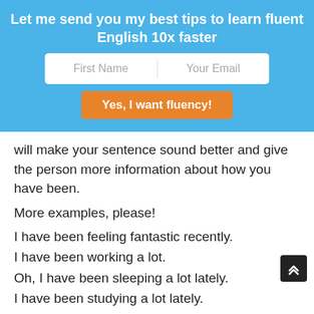Let me send you my best tips to learn fluent English 10x faster
[Figure (other): Email signup form with First Name and Your Email fields and a 'Yes, I want fluency!' orange button]
will make your sentence sound better and give the person more information about how you have been.
More examples, please!
I have been feeling fantastic recently.
I have been working a lot.
Oh, I have been sleeping a lot lately.
I have been studying a lot lately.
A WAY TO KEEP THE